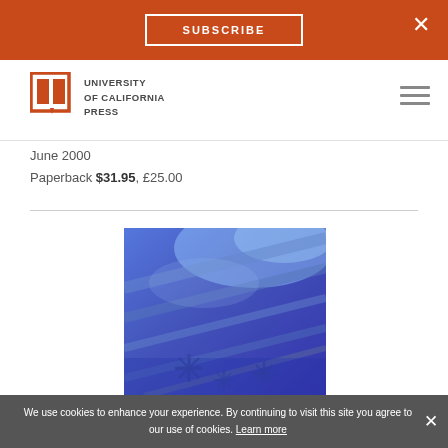SUBSCRIBE  ×
[Figure (logo): University of California Press logo — open book icon in burnt orange with text 'UNIVERSITY of CALIFORNIA PRESS']
June 2000
Paperback $31.95, £25.00
[Figure (photo): Book cover image showing abstract blue and purple geometric/crystalline shapes, possibly a microscopic or artistic photograph]
We use cookies to enhance your experience. By continuing to visit this site you agree to our use of cookies. Learn more